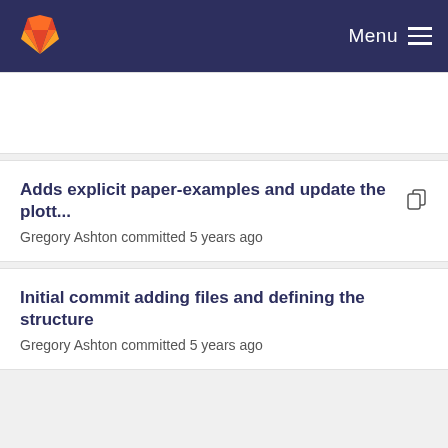Menu
Adds explicit paper-examples and update the plott... Gregory Ashton committed 5 years ago
Initial commit adding files and defining the structure Gregory Ashton committed 5 years ago